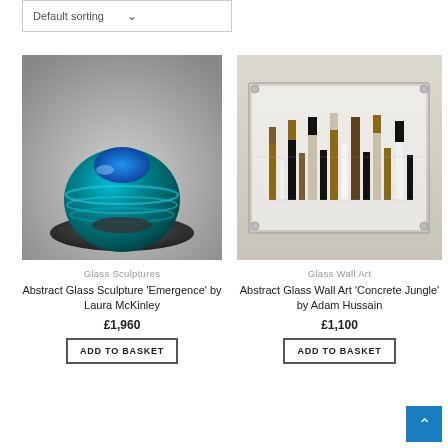Default sorting
[Figure (photo): Teal and blue glass sculpture 'Emergence' on a dark oval base]
Glass Sculptures
Abstract Glass Sculpture 'Emergence' by Laura McKinley
£1,960
ADD TO BASKET
[Figure (photo): Abstract glass wall art 'Concrete Jungle' — rectangular clear acrylic frame with suspended brown, black, and white rectangular elements]
Glass Wall Art
Abstract Glass Wall Art 'Concrete Jungle' by Adam Hussain
£1,100
ADD TO BASKET